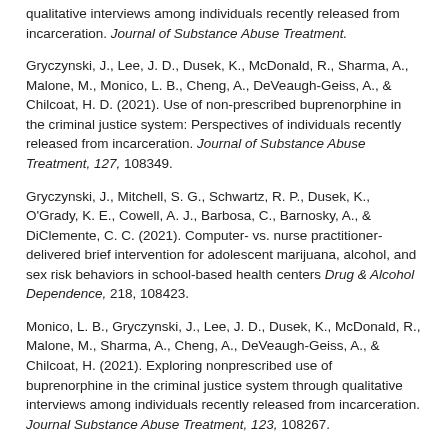qualitative interviews among individuals recently released from incarceration. Journal of Substance Abuse Treatment.
Gryczynski, J., Lee, J. D., Dusek, K., McDonald, R., Sharma, A., Malone, M., Monico, L. B., Cheng, A., DeVeaugh-Geiss, A., & Chilcoat, H. D. (2021). Use of non-prescribed buprenorphine in the criminal justice system: Perspectives of individuals recently released from incarceration. Journal of Substance Abuse Treatment, 127, 108349.
Gryczynski, J., Mitchell, S. G., Schwartz, R. P., Dusek, K., O'Grady, K. E., Cowell, A. J., Barbosa, C., Barnosky, A., & DiClemente, C. C. (2021). Computer- vs. nurse practitioner-delivered brief intervention for adolescent marijuana, alcohol, and sex risk behaviors in school-based health centers Drug & Alcohol Dependence, 218, 108423.
Monico, L. B., Gryczynski, J., Lee, J. D., Dusek, K., McDonald, R., Malone, M., Sharma, A., Cheng, A., DeVeaugh-Geiss, A., & Chilcoat, H. (2021). Exploring nonprescribed use of buprenorphine in the criminal justice system through qualitative interviews among individuals recently released from incarceration. Journal Substance Abuse Treatment, 123, 108267.